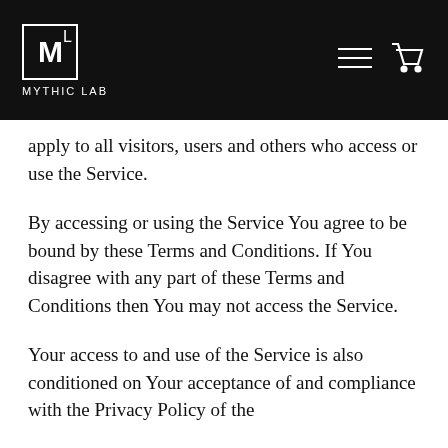MYTHIC LAB
apply to all visitors, users and others who access or use the Service.
By accessing or using the Service You agree to be bound by these Terms and Conditions. If You disagree with any part of these Terms and Conditions then You may not access the Service.
Your access to and use of the Service is also conditioned on Your acceptance of and compliance with the Privacy Policy of the